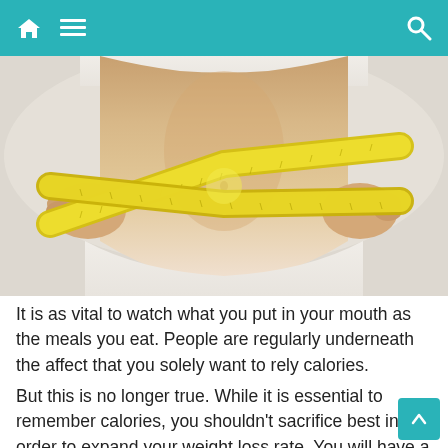Home Menu Search
[Figure (photo): A person measuring their waist with a yellow tape measure crossed in an X shape over their midsection, wearing a white outfit, light background.]
It is as vital to watch what you put in your mouth as the meals you eat. People are regularly underneath the affect that you solely want to rely calories.
But this is no longer true. While it is essential to remember calories, you shouldn't sacrifice best in order to expand your weight loss rate. You will have a increased risk of dropping weight if you devour clean fruits, vegetables, and lean